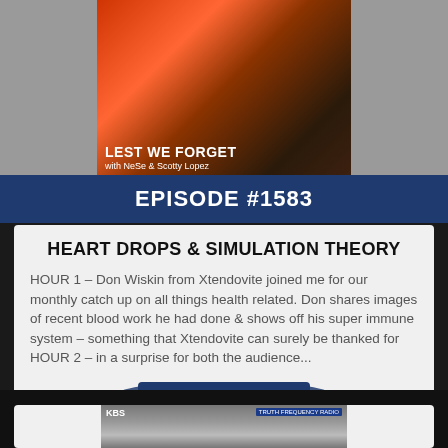[Figure (photo): Podcast thumbnail image showing red poppies and silhouette with text 'LEST WE FORGET with NeSe & Scotty Lopez']
EPISODE #1583
HEART DROPS & SIMULATION THEORY
HOUR 1 – Don Wiskin from Xtendovite joined me for our monthly catch up on all things health related. Don shares images of recent blood work he had done & shows off his super immune system – something that Xtendovite can surely be thanked for HOUR 2 – in a surprise for both the audience...
LISTEN NOW
AIRED: 11-23-2021
[Figure (photo): Black and white photo with KBS and Truth Frequency Radio logos showing people near structures]